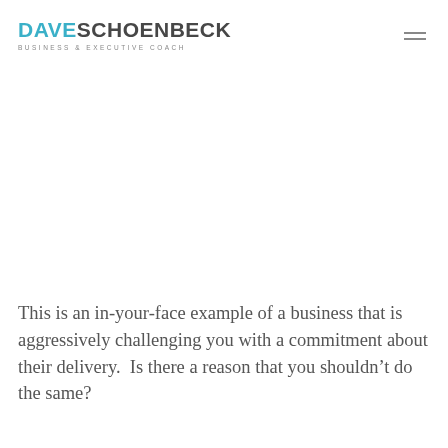DAVE SCHOENBECK — BUSINESS & EXECUTIVE COACH
This is an in-your-face example of a business that is aggressively challenging you with a commitment about their delivery.  Is there a reason that you shouldn't do the same?